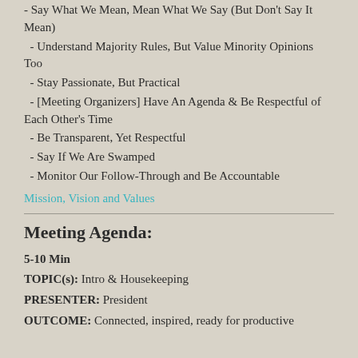- Say What We Mean, Mean What We Say (But Don't Say It Mean)
- Understand Majority Rules, But Value Minority Opinions Too
- Stay Passionate, But Practical
- [Meeting Organizers] Have An Agenda & Be Respectful of Each Other's Time
- Be Transparent, Yet Respectful
- Say If We Are Swamped
- Monitor Our Follow-Through and Be Accountable
Mission, Vision and Values
Meeting Agenda:
5-10 Min
TOPIC(s): Intro & Housekeeping
PRESENTER: President
OUTCOME: Connected, inspired, ready for productive